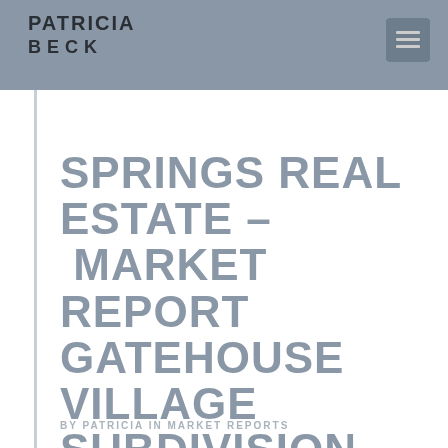PATRICIA BECK
SPRINGS REAL ESTATE – MARKET REPORT GATEHOUSE VILLAGE SUBDIVISION
BY PATRICIA IN MARKET REPORTS
Market Report for Gatehouse Village May...